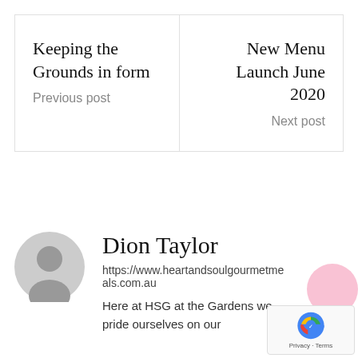Keeping the Grounds in form
Previous post
New Menu Launch June 2020
Next post
Dion Taylor
https://www.heartandsoulgourmetmeals.com.au
Here at HSG at the Gardens we pride ourselves on our